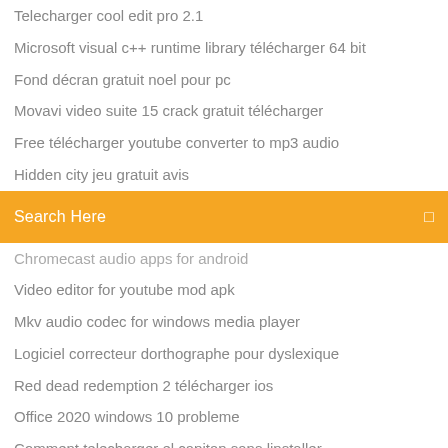Telecharger cool edit pro 2.1
Microsoft visual c++ runtime library télécharger 64 bit
Fond décran gratuit noel pour pc
Movavi video suite 15 crack gratuit télécharger
Free télécharger youtube converter to mp3 audio
Hidden city jeu gratuit avis
[Figure (screenshot): Orange search bar with 'Search Here' placeholder text and a small icon on the right]
Chromecast audio apps for android
Video editor for youtube mod apk
Mkv audio codec for windows media player
Logiciel correcteur dorthographe pour dyslexique
Red dead redemption 2 télécharger ios
Office 2020 windows 10 probleme
Comment telecharger el capitan sans linstaller
Comment utiliser whatsapp sur mon pc
Slenderman the eight pages descargar
Harry potter et la coupe de feu pc soluce
7 zip-portable command line options